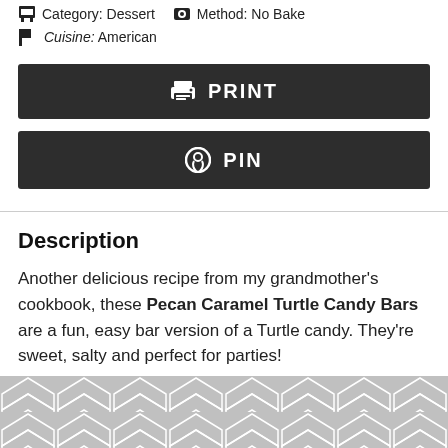Category: Dessert   Method: No Bake
Cuisine: American
PRINT
PIN
Description
Another delicious recipe from my grandmother's cookbook, these Pecan Caramel Turtle Candy Bars are a fun, easy bar version of a Turtle candy. They're sweet, salty and perfect for parties!
[Figure (other): Decorative geometric pattern banner at the bottom of the page, gray chevron/hexagon tile design]